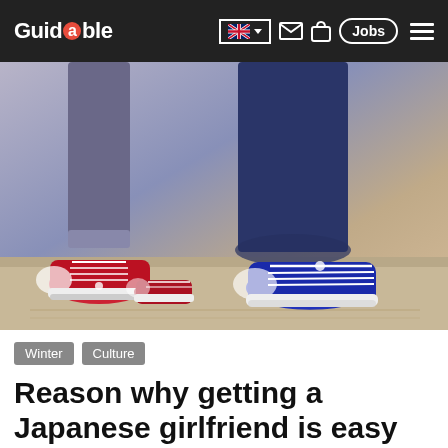Guidable — navigation bar with language selector, mail, bag, Jobs, menu
[Figure (photo): Close-up photo of two people standing close together on pavement, one wearing red high-top sneakers and grey jeans, the other wearing blue/navy high-top sneakers and dark blue jeans.]
Winter
Culture
Reason why getting a Japanese girlfriend is easy